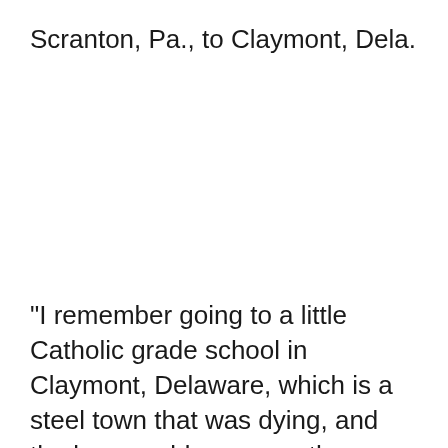Scranton, Pa., to Claymont, Dela.
“I remember going to a little Catholic grade school in Claymont, Delaware, which is a steel town that was dying, and the bus would --- my mother would drive me to the school